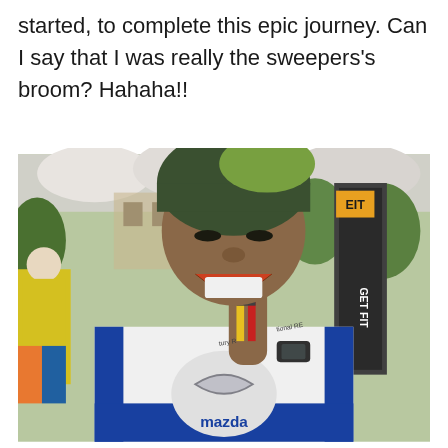started, to complete this epic journey. Can I say that I was really the sweepers's broom? Hahaha!!
[Figure (photo): A smiling man wearing a dark green beanie hat and a white Mazda-branded cycling/running jersey, holding up a race finisher medal in front of his eye. He has a race medal on a red and yellow ribbon hanging around his neck. Behind him is a tent, trees, and a 'GET FIT' banner. A person in a yellow high-visibility vest is visible to the left.]